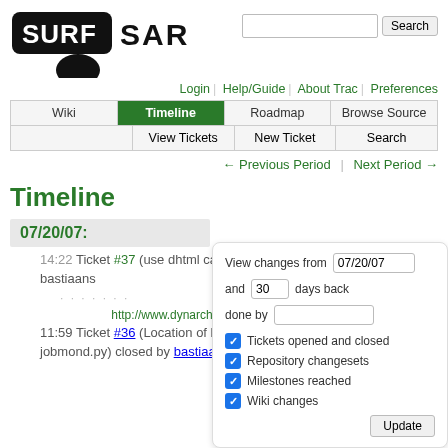[Figure (logo): SurfSara logo with black rounded rectangle containing SURF text and SARA text beside it]
Login | Help/Guide | About Trac | Preferences
[Figure (screenshot): Navigation tab bar with Wiki, Timeline (active), Roadmap, Browse Source, View Tickets, New Ticket, Search]
← Previous Period | Next Period →
Timeline
07/20/07:
14:22 Ticket #37 (use dhtml calendar in archive) created by bastiaans
http://www.dynarch.com/projects/calendar/
11:59 Ticket #36 (Location of binary for gmetric hardcoded in jobmond.py) closed by bastiaans